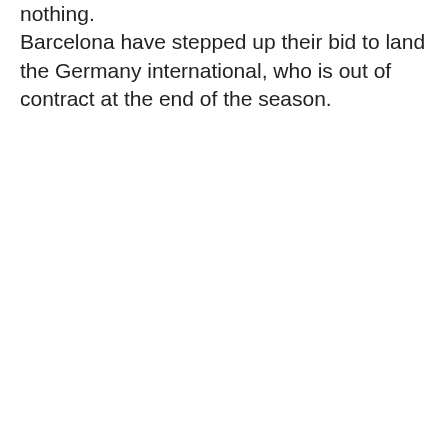nothing. Barcelona have stepped up their bid to land the Germany international, who is out of contract at the end of the season.